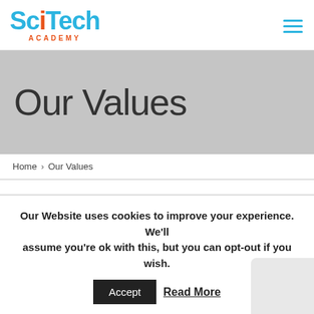SciTech Academy
Our Values
Home > Our Values
Our Website uses cookies to improve your experience. We'll assume you're ok with this, but you can opt-out if you wish.